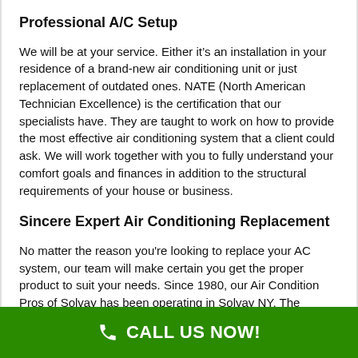Professional A/C Setup
We will be at your service. Either it’s an installation in your residence of a brand-new air conditioning unit or just replacement of outdated ones. NATE (North American Technician Excellence) is the certification that our specialists have. They are taught to work on how to provide the most effective air conditioning system that a client could ask. We will work together with you to fully understand your comfort goals and finances in addition to the structural requirements of your house or business.
Sincere Expert Air Conditioning Replacement
No matter the reason you're looking to replace your AC system, our team will make certain you get the proper product to suit your needs. Since 1980, our Air Condition Pros of Solvay has been operating in Solvay NY. The number of yrs of assistance can tell tha...
CALL US NOW!